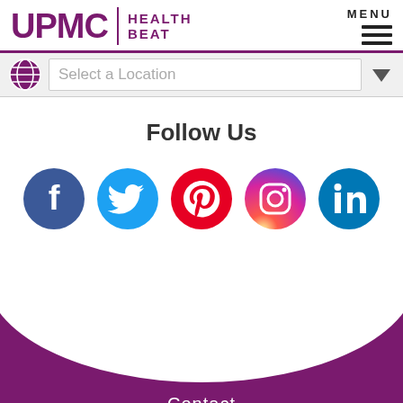[Figure (logo): UPMC Health Beat logo with purple text and horizontal rule]
Select a Location
Follow Us
[Figure (illustration): Social media icons: Facebook, Twitter, Pinterest, Instagram, LinkedIn]
Contact